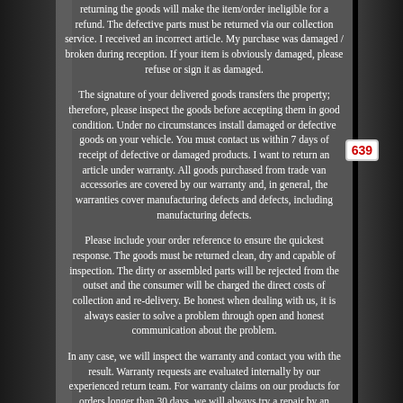returning the goods will make the item/order ineligible for a refund. The defective parts must be returned via our collection service. I received an incorrect article. My purchase was damaged / broken during reception. If your item is obviously damaged, please refuse or sign it as damaged.
The signature of your delivered goods transfers the property; therefore, please inspect the goods before accepting them in good condition. Under no circumstances install damaged or defective goods on your vehicle. You must contact us within 7 days of receipt of defective or damaged products. I want to return an article under warranty. All goods purchased from trade van accessories are covered by our warranty and, in general, the warranties cover manufacturing defects and defects, including manufacturing defects.
Please include your order reference to ensure the quickest response. The goods must be returned clean, dry and capable of inspection. The dirty or assembled parts will be rejected from the outset and the consumer will be charged the direct costs of collection and re-delivery. Be honest when dealing with us, it is always easier to solve a problem through open and honest communication about the problem.
In any case, we will inspect the warranty and contact you with the result. Warranty requests are evaluated internally by our experienced return team. For warranty claims on our products for orders longer than 30 days, we will always try a repair by an external repair company approved by the warranty. In some